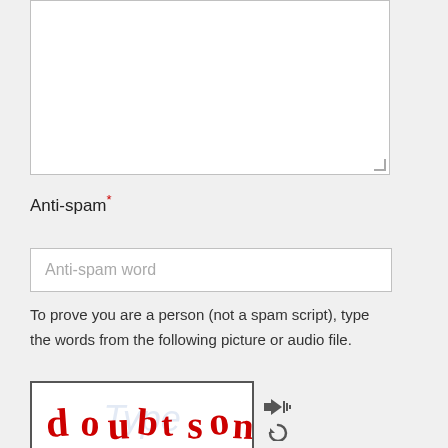[Figure (screenshot): Empty textarea form field with resize handle at bottom-right corner]
Anti-spam*
[Figure (screenshot): Text input field with placeholder text 'Anti-spam word']
To prove you are a person (not a spam script), type the words from the following picture or audio file.
[Figure (screenshot): CAPTCHA image showing distorted red handwritten text 'doubt son' with faint blue watermark behind, alongside audio speaker icon and refresh icon buttons]